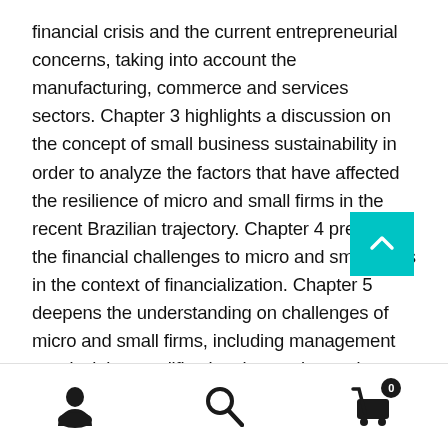financial crisis and the current entrepreneurial concerns, taking into account the manufacturing, commerce and services sectors. Chapter 3 highlights a discussion on the concept of small business sustainability in order to analyze the factors that have affected the resilience of micro and small firms in the recent Brazilian trajectory. Chapter 4 presents the financial challenges to micro and small firms in the context of financialization. Chapter 5 deepens the understanding on challenges of micro and small firms, including management trends, labor qualification, innovation and exports, besides networking and clustering. Finally, the conclusion presents a prospective analysis on the Brazilian micro and small business sector in the near future and proposes a set of measures for enhancing a policy agenda toward small
[Figure (other): Scroll-to-top button (teal/cyan square with upward chevron arrow), user icon, search icon, and shopping cart icon with badge showing 0]